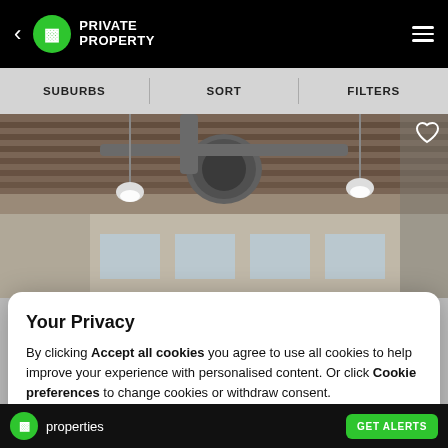Private Property — navigation bar with back arrow, logo, and hamburger menu
SUBURBS | SORT | FILTERS
[Figure (photo): Interior photo of a commercial/industrial space showing exposed ceiling with wooden beams, metal ductwork, and hanging pendant lights]
Your Privacy
By clicking Accept all cookies you agree to use all cookies to help improve your experience with personalised content. Or click Cookie preferences to change cookies or withdraw consent.
Cookies preferences | Accept all cookies
properties  GET ALERTS